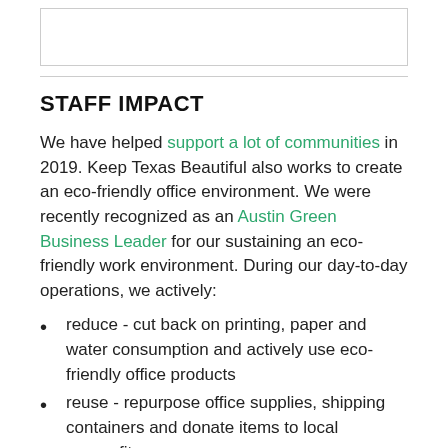STAFF IMPACT
We have helped support a lot of communities in 2019. Keep Texas Beautiful also works to create an eco-friendly office environment. We were recently recognized as an Austin Green Business Leader for our sustaining an eco-friendly work environment. During our day-to-day operations, we actively:
reduce - cut back on printing, paper and water consumption and actively use eco-friendly office products
reuse - repurpose office supplies, shipping containers and donate items to local nonprofits
recycle - office paper, mixed-products
compost in our community kitchen